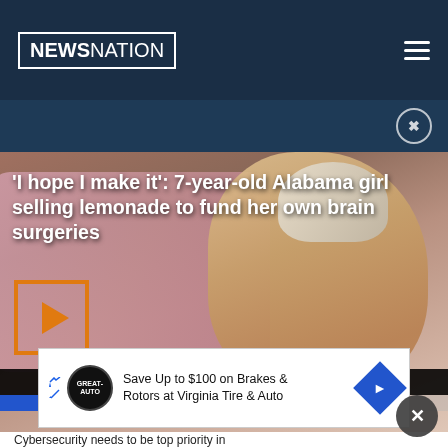NEWSNATION
[Figure (photo): NewsNation website screenshot showing a 7-year-old girl with head wrap sleeping on a pink pillow]
'I hope I make it': 7-year-old Alabama girl selling lemonade to fund her own brain surgeries
7-YEAR-OLD SELLS LEMONADE FOR SURGERY EXPENSES — LOCAL COVERAGE YOU CAN COUNT ON
[Figure (photo): Advertisement: Save Up to $100 on Brakes & Rotors at Virginia Tire & Auto]
Cybersecurity needs to be top priority in...